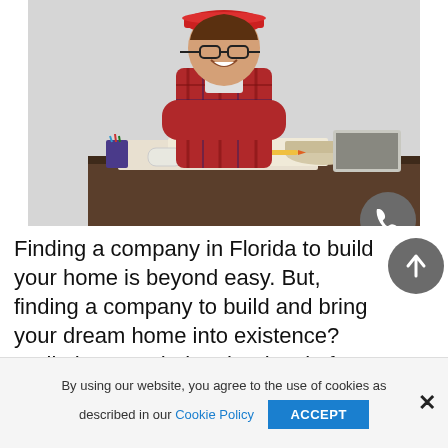[Figure (photo): A smiling young man wearing a red hard hat, glasses, and a plaid flannel shirt standing with arms crossed behind a desk with blueprints, pencils, tape, and rolled paper — an architect or construction worker pose.]
Finding a company in Florida to build your home is beyond easy. But, finding a company to build and bring your dream home into existence? Well, that's a whole other level of complicated. For that, you
By using our website, you agree to the use of cookies as described in our Cookie Policy
ACCEPT